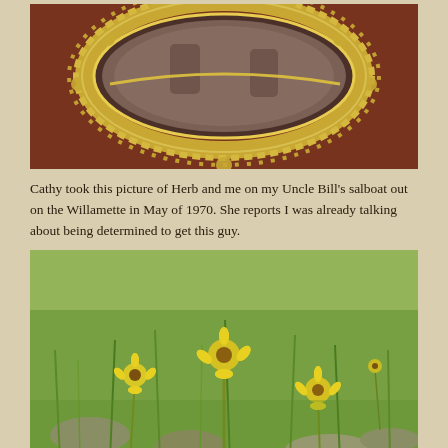[Figure (photo): Close-up photo of an ornate gold/brass filigree oval picture frame sitting on a dark wooden surface, with a faded photograph visible inside the frame.]
Cathy took this picture of Herb and me on my Uncle Bill's salboat out on the Willamette in May of 1970.  She reports I was already talking about being determined to get this guy.
[Figure (photo): Outdoor photograph of yellow wildflowers (sunflower-like) growing among green grasses and rocks in a meadow or hillside setting.]